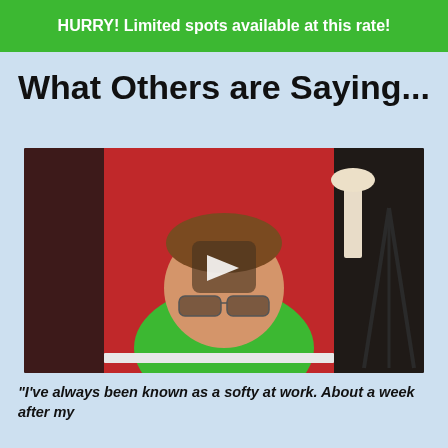HURRY! Limited spots available at this rate!
What Others are Saying...
[Figure (photo): Video thumbnail showing a young man in a green t-shirt wearing glasses, in front of a red wall, with a play button overlay in the center.]
"I've always been known as a softy at work. About a week after my